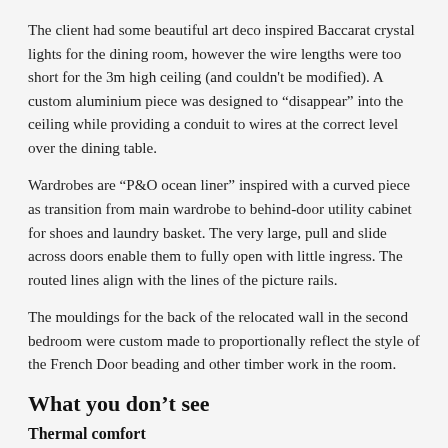The client had some beautiful art deco inspired Baccarat crystal lights for the dining room, however the wire lengths were too short for the 3m high ceiling (and couldn't be modified). A custom aluminium piece was designed to “disappear” into the ceiling while providing a conduit to wires at the correct level over the dining table.
Wardrobes are “P&O ocean liner” inspired with a curved piece as transition from main wardrobe to behind-door utility cabinet for shoes and laundry basket. The very large, pull and slide across doors enable them to fully open with little ingress. The routed lines align with the lines of the picture rails.
The mouldings for the back of the relocated wall in the second bedroom were custom made to proportionally reflect the style of the French Door beading and other timber work in the room.
What you don’t see
Thermal comfort